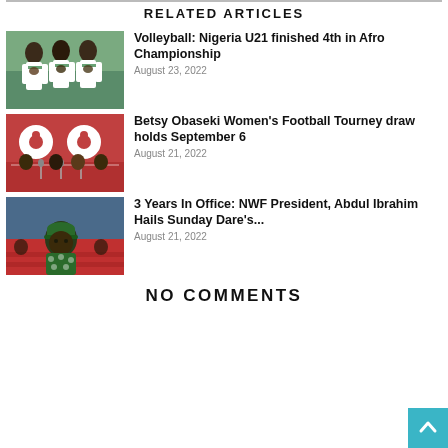RELATED ARTICLES
[Figure (photo): Nigeria U21 volleyball team players in white jerseys with green trim, hands over chest]
Volleyball: Nigeria U21 finished 4th in Afro Championship
August 23, 2022
[Figure (photo): Press conference scene with red backdrop and Ekiakpolor Foundation logos, people seated at table with microphones]
Betsy Obaseki Women's Football Tourney draw holds September 6
August 21, 2022
[Figure (photo): Man in green cap and patterned shirt seated in red stadium seats among a crowd]
3 Years In Office: NWF President, Abdul Ibrahim Hails Sunday Dare's...
August 21, 2022
NO COMMENTS